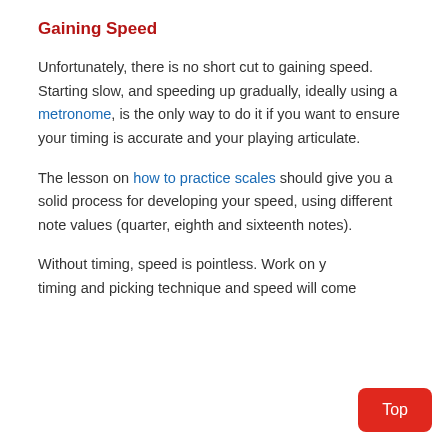Gaining Speed
Unfortunately, there is no short cut to gaining speed. Starting slow, and speeding up gradually, ideally using a metronome, is the only way to do it if you want to ensure your timing is accurate and your playing articulate.
The lesson on how to practice scales should give you a solid process for developing your speed, using different note values (quarter, eighth and sixteenth notes).
Without timing, speed is pointless. Work on your timing and picking technique and speed will come